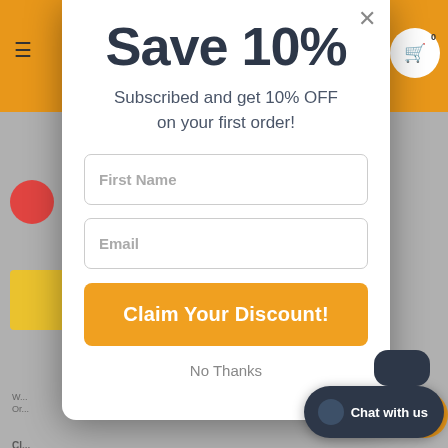Save 10%
Subscribed and get 10% OFF on your first order!
First Name
Email
Claim Your Discount!
No Thanks
Chat with us